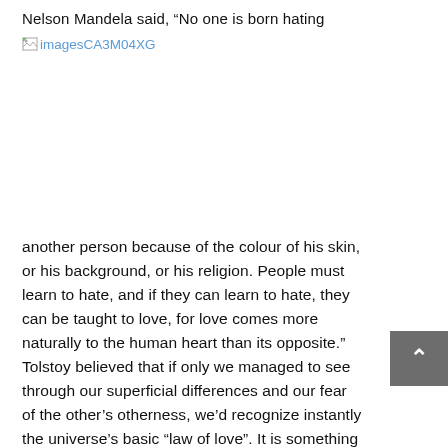Nelson Mandela said, “No one is born hating
[Figure (other): Broken image placeholder showing 'imagesCA3M04XG' as alt text link in blue]
another person because of the colour of his skin, or his background, or his religion. People must learn to hate, and if they can learn to hate, they can be taught to love, for love comes more naturally to the human heart than its opposite.” Tolstoy believed that if only we managed to see through our superficial differences and our fear of the other’s otherness, we’d recognize instantly the universe’s basic “law of love”. It is something to which we are born and attuned, only to